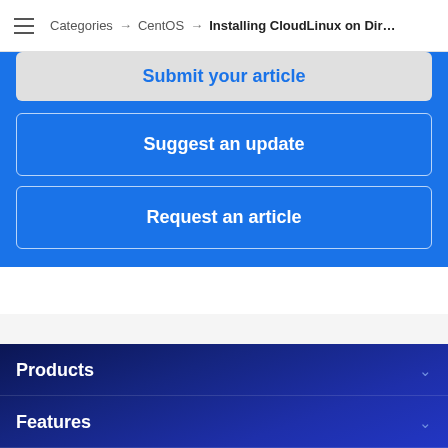Categories → CentOS → Installing CloudLinux on Dir…
Submit your article
Suggest an update
Request an article
Products
Features
Use Cases